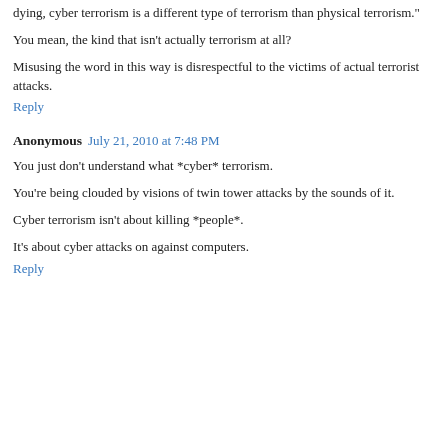dying, cyber terrorism is a different type of terrorism than physical terrorism."
You mean, the kind that isn't actually terrorism at all?
Misusing the word in this way is disrespectful to the victims of actual terrorist attacks.
Reply
Anonymous  July 21, 2010 at 7:48 PM
You just don't understand what *cyber* terrorism.
You're being clouded by visions of twin tower attacks by the sounds of it.
Cyber terrorism isn't about killing *people*.
It's about cyber attacks on against computers.
Reply